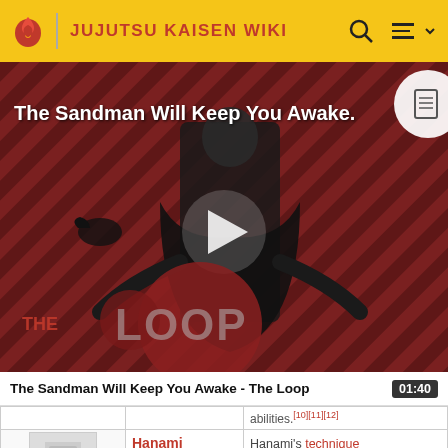JUJUTSU KAISEN WIKI
[Figure (screenshot): Video thumbnail for 'The Sandman Will Keep You Awake - The Loop' with a dark-clad figure, play button overlay, and 'THE LOOP' logo at bottom left. Dark red diagonal stripe background.]
The Sandman Will Keep You Awake - The Loop  01:40
| Image | Name | Description |
| --- | --- | --- |
|  |  | abilities.[10][11][12] |
| [image placeholder] | Hanami | Hanami's technique allows him to freely |